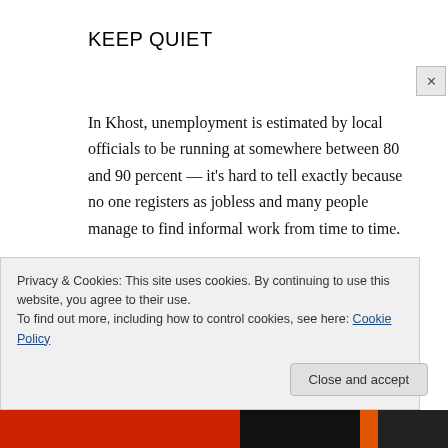KEEP QUIET
In Khost, unemployment is estimated by local officials to be running at somewhere between 80 and 90 percent — it's hard to tell exactly because no one registers as jobless and many people manage to find informal work from time to time.
In the past, the lack of jobs and the frustrations that brings for young men eager to earn a wage
Privacy & Cookies: This site uses cookies. By continuing to use this website, you agree to their use.
To find out more, including how to control cookies, see here: Cookie Policy
Close and accept